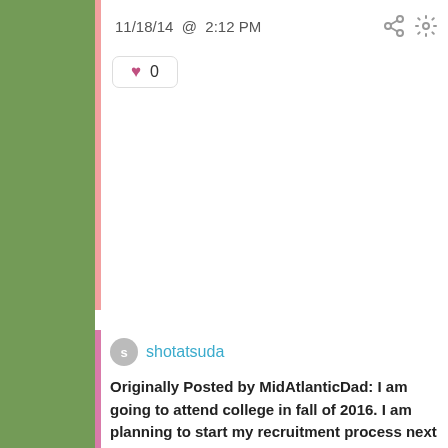11/18/14 @ 2:12 PM
♥ 0
shotatsuda
Originally Posted by MidAtlanticDad: I am going to attend college in fall of 2016. I am planning to start my recruitment process next spring by making a video.
For me and my community/high school, I believe a college that offers a good education means a good job after undergrad. I am not really sure what I would like to do, but for now I am looking for schools that have good reputations. I have a 3.5 GPA and trying